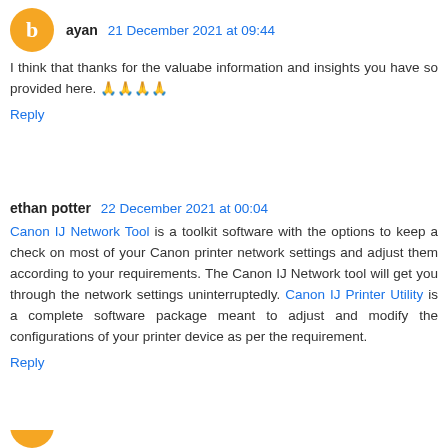ayan 21 December 2021 at 09:44
I think that thanks for the valuabe information and insights you have so provided here. 🙏🙏🙏🙏
Reply
ethan potter 22 December 2021 at 00:04
Canon IJ Network Tool is a toolkit software with the options to keep a check on most of your Canon printer network settings and adjust them according to your requirements. The Canon IJ Network tool will get you through the network settings uninterruptedly. Canon IJ Printer Utility is a complete software package meant to adjust and modify the configurations of your printer device as per the requirement.
Reply